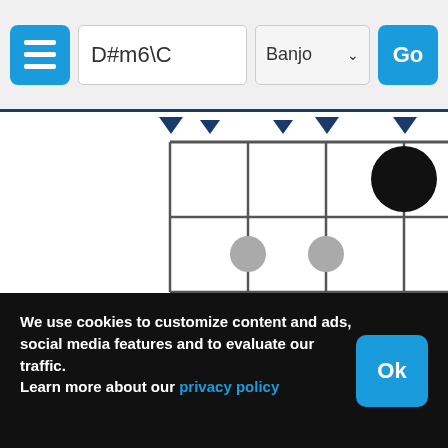[Figure (screenshot): Web app header with hamburger menu button, chord input field showing 'D#m6\C', instrument selector showing 'Banjo' with dropdown arrow, and blue 'Go' button]
[Figure (other): Banjo chord diagram for D#m6\C showing a fretboard grid with 4 strings and 2 frets, open string markers at top for strings 1, 2, 4, a filled black dot on string 4 fret 1, and grey dots on strings 2 and 3 of fret 2]
We use cookies to customize content and ads, social media features and to evaluate our traffic. Learn more about our privacy policy